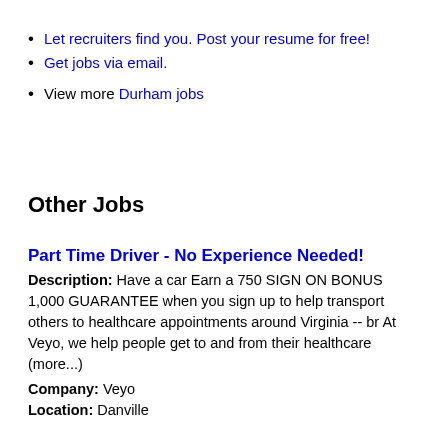Let recruiters find you. Post your resume for free!
Get jobs via email.
View more Durham jobs
Other Jobs
Part Time Driver - No Experience Needed!
Description: Have a car Earn a 750 SIGN ON BONUS 1,000 GUARANTEE when you sign up to help transport others to healthcare appointments around Virginia -- br At Veyo, we help people get to and from their healthcare (more...)
Company: Veyo
Location: Danville